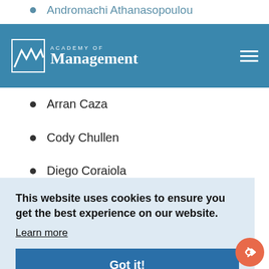Andromachi Athanasopoulou
ACADEMY OF Management
Arran Caza
Cody Chullen
Diego Coraiola
Bill Harley
Florian Hoos
Kurt Kraiger
This website uses cookies to ensure you get the best experience on our website.
Learn more
Got it!
Olga Ryazanova